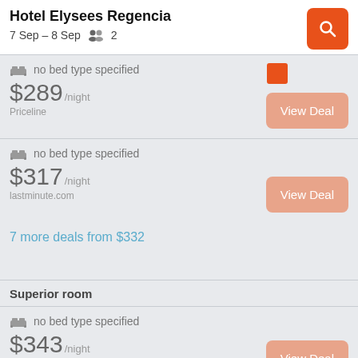Hotel Elysees Regencia
7 Sep – 8 Sep   2
no bed type specified
$289/night
Priceline
View Deal
no bed type specified
$317/night
lastminute.com
View Deal
7 more deals from $332
Superior room
no bed type specified
$343/night
FINDHOTEL
View Deal